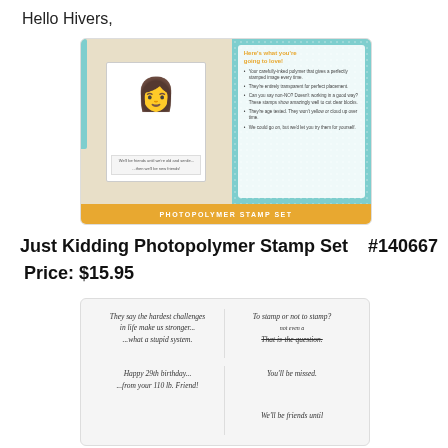Hello Hivers,
[Figure (photo): Product image of Just Kidding Photopolymer Stamp Set showing a greeting card with a cartoon woman and teal border on the left, and a teal dotted-pattern panel with 'Here's what you're going to love' bullet points on the right. Golden yellow footer bar reads 'PHOTOPOLYMER STAMP SET'.]
Just Kidding Photopolymer Stamp Set   #140667
Price: $15.95
[Figure (photo): Close-up image of stamp set impressions on white/cream background showing various humorous phrases: 'They say the hardest challenges in life make us stronger... ...what a stupid system.', 'To stamp or not to stamp? not even a That is-the question.', 'Happy 29th birthday... ...from your 110 lb. Friend!', 'You'll be missed.', 'We'll be friends until']